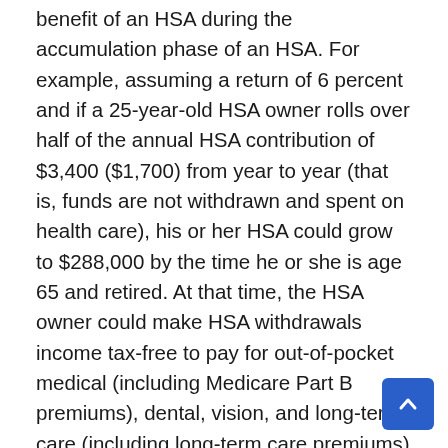benefit of an HSA during the accumulation phase of an HSA. For example, assuming a return of 6 percent and if a 25-year-old HSA owner rolls over half of the annual HSA contribution of $3,400 ($1,700) from year to year (that is, funds are not withdrawn and spent on health care), his or her HSA could grow to $288,000 by the time he or she is age 65 and retired. At that time, the HSA owner could make HSA withdrawals income tax-free to pay for out-of-pocket medical (including Medicare Part B premiums), dental, vision, and long-term care (including long-term care premiums) expenses. If they are age 65 or older, they can make HSA withdrawals to pay